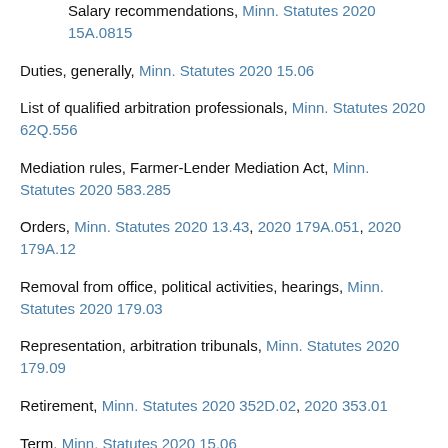Salary recommendations, Minn. Statutes 2020 15A.0815
Duties, generally, Minn. Statutes 2020 15.06
List of qualified arbitration professionals, Minn. Statutes 2020 62Q.556
Mediation rules, Farmer-Lender Mediation Act, Minn. Statutes 2020 583.285
Orders, Minn. Statutes 2020 13.43, 2020 179A.051, 2020 179A.12
Removal from office, political activities, hearings, Minn. Statutes 2020 179.03
Representation, arbitration tribunals, Minn. Statutes 2020 179.09
Retirement, Minn. Statutes 2020 352D.02, 2020 353.01
Term, Minn. Statutes 2020 15.06